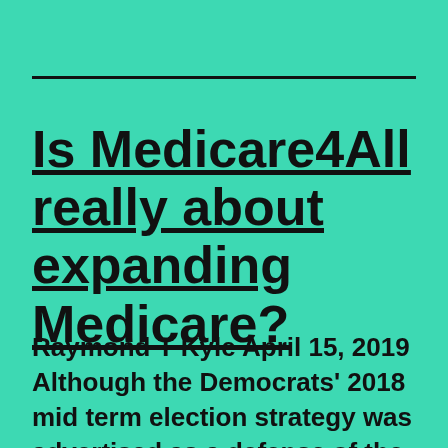Is Medicare4All really about expanding Medicare?
Raymond T Kyle April 15, 2019 Although the Democrats' 2018 mid term election strategy was advertised as a defense of the Affordable Care Act from Republican threats to repeal it,